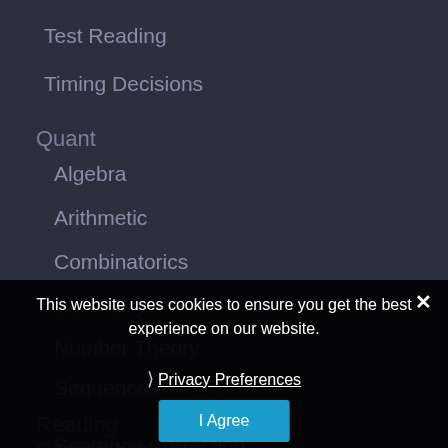Test Reading
Timing Decisions
Quant
Algebra
Arithmetic
Combinatorics
Geometry
Number Theory
Sequences
Reading Comprehension
Sentence Correction
Verbal
This website uses cookies to ensure you get the best experience on our website.
Privacy Preferences
I Agree